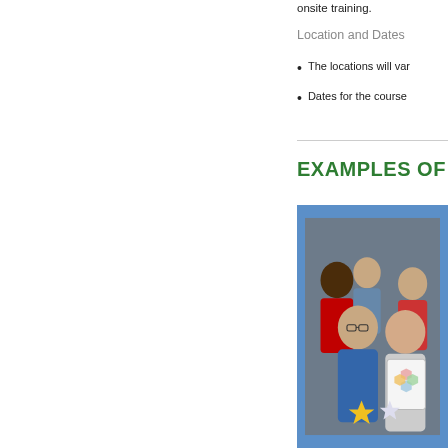onsite training.
Location and Dates
The locations will var…
Dates for the course…
EXAMPLES OF
[Figure (photo): Group photo of several women smiling, one holding a spiral notebook with a colorful hexagon diagram on the cover, and another holding a gold glitter star. Blue wall background.]